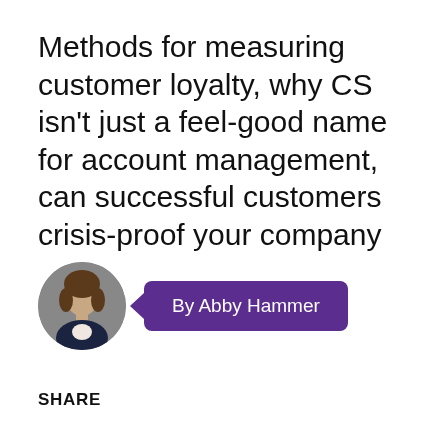Methods for measuring customer loyalty, why CS isn't just a feel-good name for account management, can successful customers crisis-proof your company
[Figure (photo): Circular avatar photo of a woman (Abby Hammer) with dark hair, wearing a dark blazer, against a grey background]
By Abby Hammer
SHARE